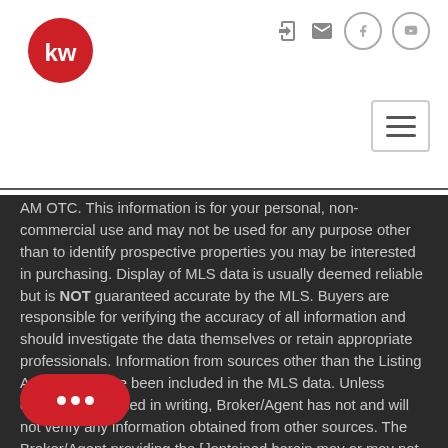[Figure (logo): Keller Williams red circular logo with white 'kw' text]
AM OTC. This information is for your personal, non-commercial use and may not be used for any purpose other than to identify prospective properties you may be interested in purchasing. Display of MLS data is usually deemed reliable but is NOT guaranteed accurate by the MLS. Buyers are responsible for verifying the accuracy of all information and should investigate the data themselves or retain appropriate professionals. Information from sources other than the Listing Agent may have been included in the MLS data. Unless otherwise specified in writing, Broker/Agent has not and will not verify any information obtained from other sources. The Broker/Agent providing the [information] contained herein may or may not have been the Listing or Selling Agent.